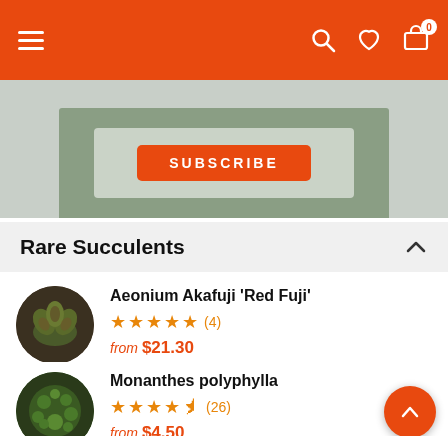Navigation bar with menu, search, wishlist, and cart icons
[Figure (screenshot): Succulent plant subscription banner with orange SUBSCRIBE button and succulent plant tray image]
Rare Succulents
Aeonium Akafuji 'Red Fuji' — 5 stars (4) — from $21.30
Monanthes polyphylla — 4.5 stars (26) — from $4.50
Echeveria Harry Waston — 5 stars (4) — from $4.15